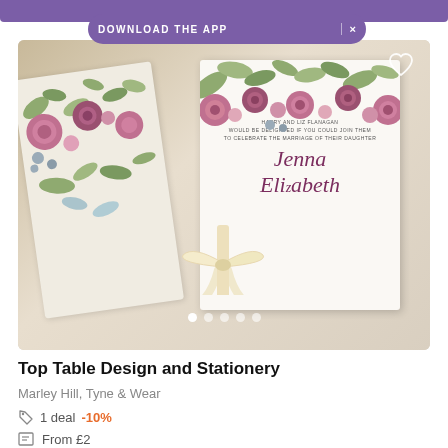DOWNLOAD THE APP  ×
[Figure (photo): Wedding invitation stationery with floral design showing roses and greenery. Two cards shown, one face up with cursive name text 'Jenna Elizabeth' in dark pink/maroon, tied with cream ribbon bow. Text reads 'HARRY AND LIZ FLANAGAN WOULD BE DELIGHTED IF YOU COULD JOIN THEM TO CELEBRATE THE MARRIAGE OF THEIR DAUGHTER'. Image carousel dots visible.]
Top Table Design and Stationery
Marley Hill, Tyne & Wear
1 deal  -10%
From £2